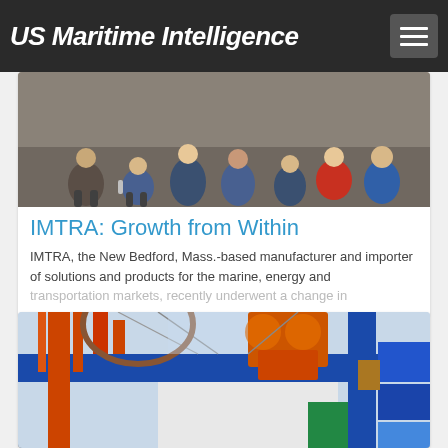US Maritime Intelligence
[Figure (photo): Group of people posing for a photo, crouching and sitting on gravel ground]
IMTRA: Growth from Within
IMTRA, the New Bedford, Mass.-based manufacturer and importer of solutions and products for the marine, energy and transportation markets, recently underwent a change in
[Figure (photo): Port scene with blue and orange cranes, shipping containers in blue, green, orange, and a ship in the background]